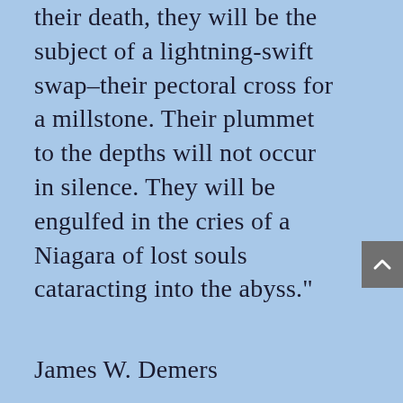their death, they will be the subject of a lightning-swift swap–their pectoral cross for a millstone. Their plummet to the depths will not occur in silence. They will be engulfed in the cries of a Niagara of lost souls cataracting into the abyss."
James W. Demers